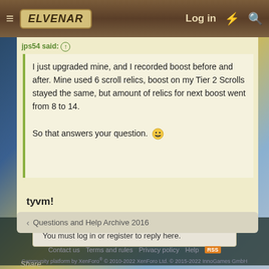Elvenar — Log in
jps54 said: I just upgraded mine, and I recorded boost before and after. Mine used 6 scroll relics, boost on my Tier 2 Scrolls stayed the same, but amount of relics for next boost went from 8 to 14.

So that answers your question. 😁
tyvm!
You must log in or register to reply here.
Share:
< Questions and Help Archive 2016
Contact us   Terms and rules   Privacy policy   Help   RSS
Community platform by XenForo® © 2010-2022 XenForo Ltd. © 2015-2022 InnoGames GmbH